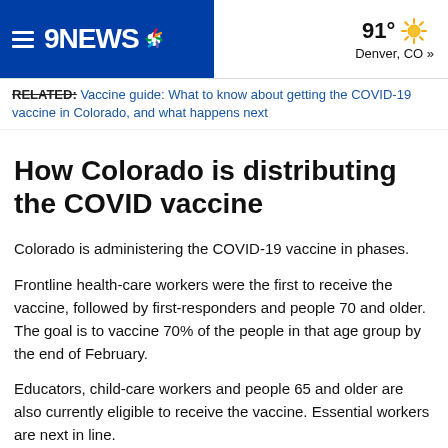9NEWS | 91° Denver, CO »
RELATED: Vaccine guide: What to know about getting the COVID-19 vaccine in Colorado, and what happens next
How Colorado is distributing the COVID vaccine
Colorado is administering the COVID-19 vaccine in phases.
Frontline health-care workers were the first to receive the vaccine, followed by first-responders and people 70 and older. The goal is to vaccine 70% of the people in that age group by the end of February.
Educators, child-care workers and people 65 and older are also currently eligible to receive the vaccine. Essential workers are next in line.
RELATED: Report: IBS denies worker COVID-19